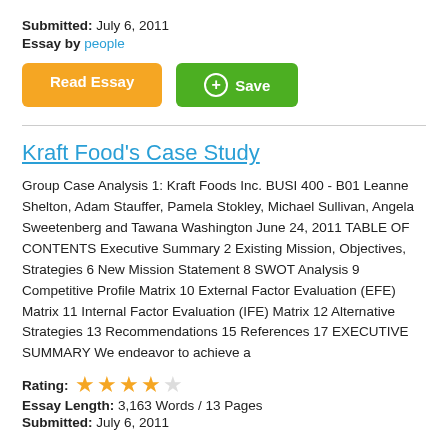Submitted: July 6, 2011
Essay by people
[Figure (other): Two buttons: orange 'Read Essay' button and green '+ Save' button]
Kraft Food's Case Study
Group Case Analysis 1: Kraft Foods Inc. BUSI 400 - B01 Leanne Shelton, Adam Stauffer, Pamela Stokley, Michael Sullivan, Angela Sweetenberg and Tawana Washington June 24, 2011 TABLE OF CONTENTS Executive Summary 2 Existing Mission, Objectives, Strategies 6 New Mission Statement 8 SWOT Analysis 9 Competitive Profile Matrix 10 External Factor Evaluation (EFE) Matrix 11 Internal Factor Evaluation (IFE) Matrix 12 Alternative Strategies 13 Recommendations 15 References 17 EXECUTIVE SUMMARY We endeavor to achieve a
Rating: ★★★★☆
Essay Length: 3,163 Words / 13 Pages
Submitted: July 6, 2011